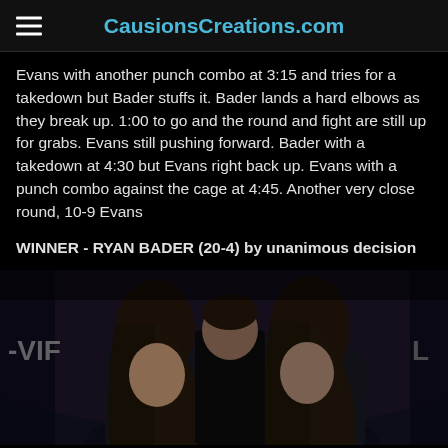CausionsCreations.com
Evans with another punch combo at 3:15 and tries for a takedown but Bader stuffs it. Bader lands a hard elbows as they break up. 1:00 to go and the round and fight are still up for grabs. Evans still pushing forward. Bader with a takedown at 4:30 but Evans right back up. Evans with a punch combo against the cage at 4:45. Another very close round, 10-9 Evans
WINNER - RYAN BADER (20-4) by unanimous decision
[Figure (photo): Photo of two women facing each other in what appears to be a UFC/MMA event weigh-in or face-off, with a man in a black shirt between them in the background. Text 'VIF' partially visible on left side.]